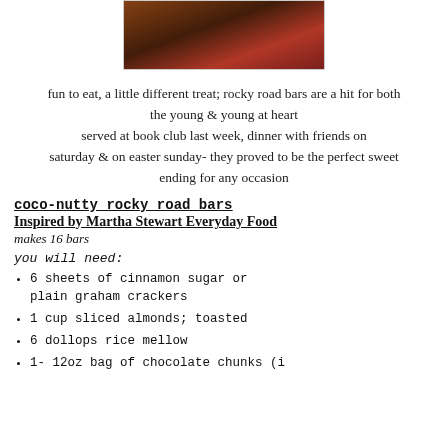[Figure (photo): Close-up photo of rocky road bars with chocolate and toppings]
fun to eat, a little different treat; rocky road bars are a hit for both the young & young at heart served at book club last week, dinner with friends on saturday & on easter sunday- they proved to be the perfect sweet ending for any occasion
coco-nutty rocky road bars
Inspired by Martha Stewart Everyday Food
makes 16 bars
you will need:
6 sheets of cinnamon sugar or plain graham crackers
1 cup sliced almonds; toasted
6 dollops rice mellow
1- 12oz bag of chocolate chunks (i